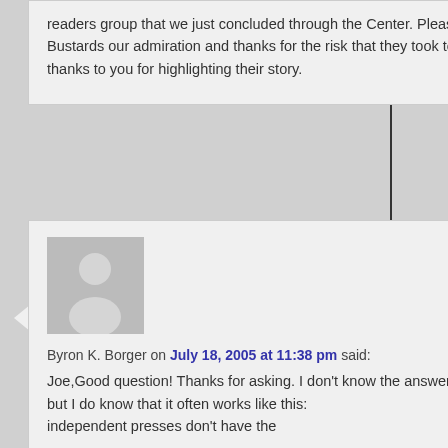readers group that we just concluded through the Center. Please pass on to the Bustards our admiration and thanks for the risk that they took to start Square Halo, and thanks to you for highlighting their story.
Byron K. Borger on July 18, 2005 at 11:38 pm said:
Joe,Good question! Thanks for asking. I don't know the answer in this specific situation, but I do know that it often works like this: independent presses don't have the